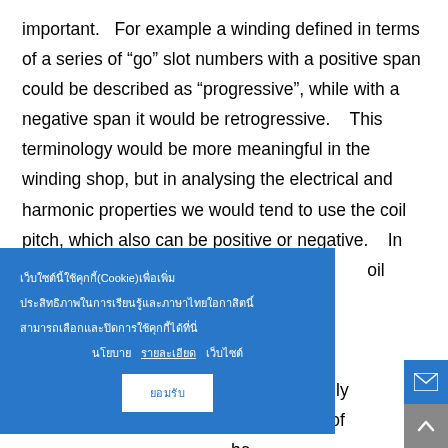important.  For example a winding defined in terms of a series of “go” slot numbers with a positive span could be described as “progressive”, while with a negative span it would be retrogressive.  This terminology would be more meaningful in the winding shop, but in analysing the electrical and harmonic properties we would tend to use the coil pitch, which also can be positive or negative.  In formulas for the coil pitch is often should be nce and nents.  Finally he polarities of he interconnectors.  In some winding diagrams we will see coil
[Figure (screenshot): Blue cookie consent overlay banner with Thai language text and a white button, partially covering the main text content. Also shows two side icon buttons (mail and up arrow) on the right edge.]